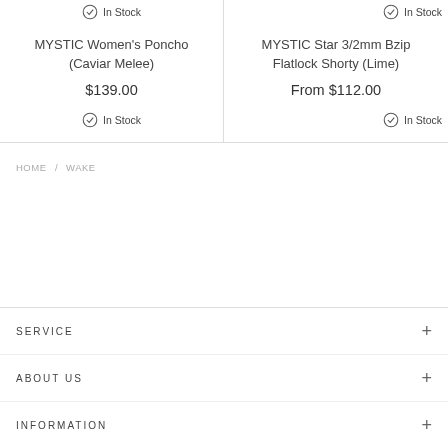In Stock
In Stock
MYSTIC Women's Poncho (Caviar Melee)
$139.00
In Stock
MYSTIC Star 3/2mm Bzip Flatlock Shorty (Lime)
From $112.00
In Stock
HOME / WAKE
SERVICE
ABOUT US
INFORMATION